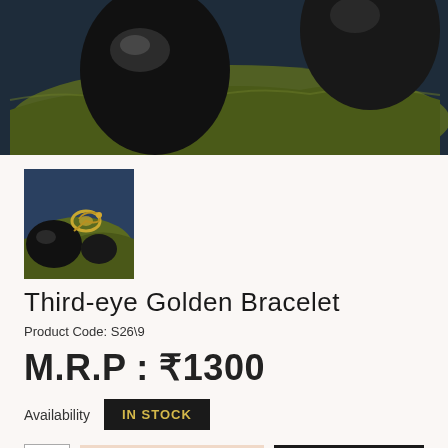[Figure (photo): Main product photo showing two large polished black stones on a dried green leaf against a dark blue surface]
[Figure (photo): Thumbnail product photo showing Third-eye Golden Bracelet with black stones and golden ring element on a green leaf]
Third-eye Golden Bracelet
Product Code: S26\9
M.R.P : ₹1300
Availability   IN STOCK
1   ADD TO CART   BUY NOW